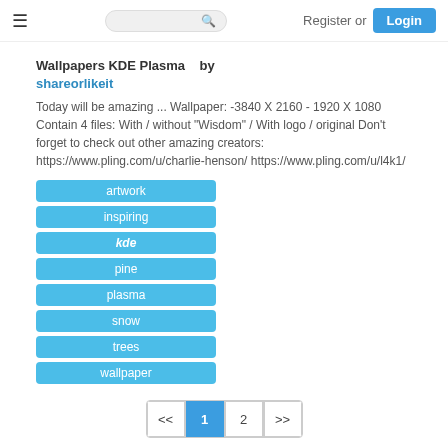Register or Login
Wallpapers KDE Plasma   by shareorlikeit
Today will be amazing ... Wallpaper: -3840 X 2160 - 1920 X 1080 Contain 4 files: With / without "Wisdom" / With logo / original Don't forget to check out other amazing creators: https://www.pling.com/u/charlie-henson/ https://www.pling.com/u/l4k1/
artwork
inspiring
kde
pine
plasma
snow
trees
wallpaper
<< 1 2 >>